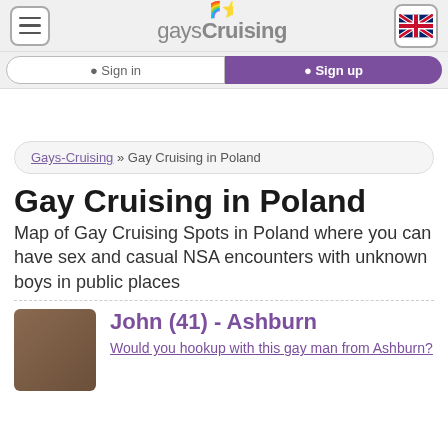gaysCruising [menu button] [UK flag]
Sign in | Sign up
Gays-Cruising » Gay Cruising in Poland
Gay Cruising in Poland
Map of Gay Cruising Spots in Poland where you can have sex and casual NSA encounters with unknown boys in public places
John (41) - Ashburn
Would you hookup with this gay man from Ashburn?